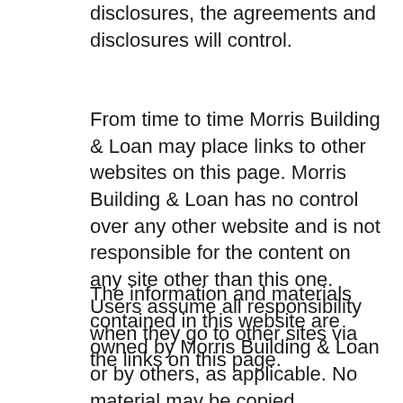disclosures, the agreements and disclosures will control.
From time to time Morris Building & Loan may place links to other websites on this page. Morris Building & Loan has no control over any other website and is not responsible for the content on any site other than this one. Users assume all responsibility when they go to other sites via the links on this page.
The information and materials contained in this website are owned by Morris Building & Loan or by others, as applicable. No material may be copied, displayed, transmitted, distributed, framed, sold,